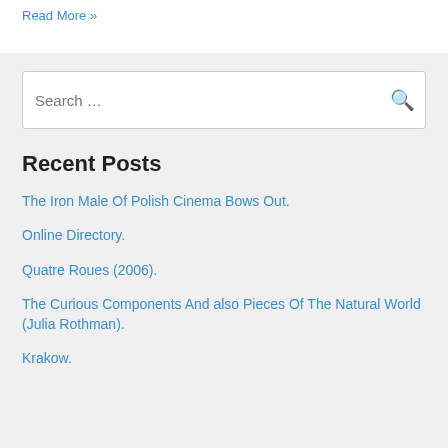Read More »
Search …
Recent Posts
The Iron Male Of Polish Cinema Bows Out.
Online Directory.
Quatre Roues (2006).
The Curious Components And also Pieces Of The Natural World (Julia Rothman).
Krakow.